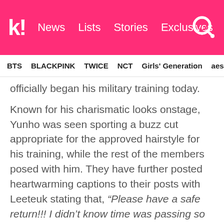k! News Lists Stories Exclusives
BTS  BLACKPINK  TWICE  NCT  Girls' Generation  aespa
officially began his military training today.

Known for his charismatic looks onstage, Yunho was seen sporting a buzz cut appropriate for the approved hairstyle for his training, while the rest of the members posed with him. They have further posted heartwarming captions to their posts with Leeteuk stating that, “Please have a safe return!!! I didn’t know time was passing so quickly during our talks.. Whew I kind of like it and don’t like it at the same time that time has already passed so quickly.. Please just return safely!!! I’ll come visit!!! ^^…,” while Yesung reminisced on the first time they have meet